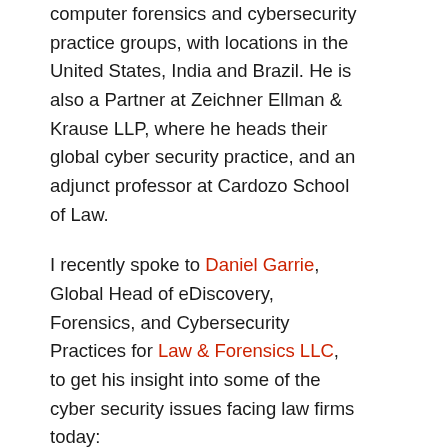computer forensics and cybersecurity practice groups, with locations in the United States, India and Brazil. He is also a Partner at Zeichner Ellman & Krause LLP, where he heads their global cyber security practice, and an adjunct professor at Cardozo School of Law.
I recently spoke to Daniel Garrie, Global Head of eDiscovery, Forensics, and Cybersecurity Practices for Law & Forensics LLC, to get his insight into some of the cyber security issues facing law firms today:
Q. Daniel, why do hackers and other cyber criminals target law firms?